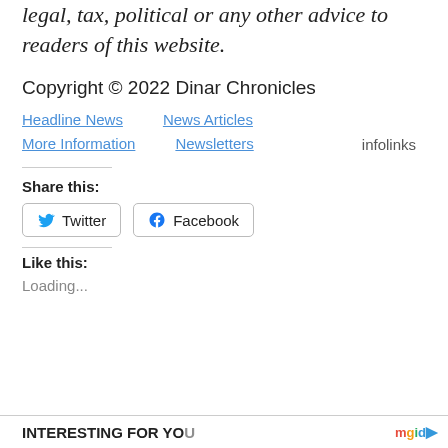legal, tax, political or any other advice to readers of this website.
Copyright © 2022 Dinar Chronicles
Headline News
News Articles
More Information
Newsletters
infolinks
Share this:
Twitter
Facebook
[Figure (screenshot): JSV video overlay with black background and loading dots, with X close button]
Like this:
Loading...
INTERESTING FOR YOU